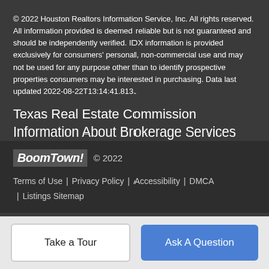© 2022 Houston Realtors Information Service, Inc. All rights reserved. All information provided is deemed reliable but is not guaranteed and should be independently verified. IDX information is provided exclusively for consumers' personal, non-commercial use and may not be used for any purpose other than to identify prospective properties consumers may be interested in purchasing. Data last updated 2022-08-22T13:14:41.813.
Texas Real Estate Commission Information About Brokerage Services
BoomTown! © 2022 | Terms of Use | Privacy Policy | Accessibility | DMCA | Listings Sitemap
Take a Tour
Ask A Question